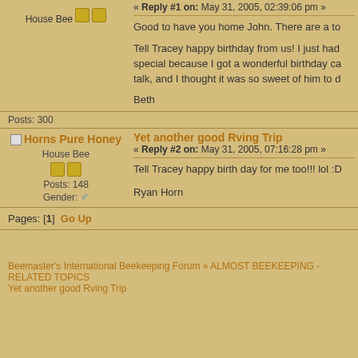« Reply #1 on: May 31, 2005, 02:39:06 pm »
Good to have you home John. There are a to
Tell Tracey happy birthday from us! I just had special because I got a wonderful birthday ca talk, and I thought it was so sweet of him to d
Beth
House Bee
Posts: 300
Horns Pure Honey
House Bee
Posts: 148
Gender: ♂
Yet another good Rving Trip
« Reply #2 on: May 31, 2005, 07:16:28 pm »
Tell Tracey happy birth day for me too!!! lol :D
Ryan Horn
Pages: [1]  Go Up
Beemaster's International Beekeeping Forum » ALMOST BEEKEEPING - RELATED TOPICS Yet another good Rving Trip